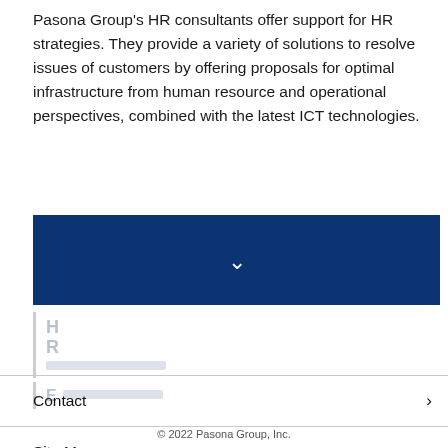Pasona Group's HR consultants offer support for HR strategies. They provide a variety of solutions to resolve issues of customers by offering proposals for optimal infrastructure from human resource and operational perspectives, combined with the latest ICT technologies.
[Figure (other): Dark navy blue collapsed/accordion bar with a white downward chevron arrow in the center]
[Figure (other): Two faded collapsed accordion items with light gray left border and placeholder text in light gray, showing 'H', 'R' letters partially visible, and a second item with 'E' letter]
Contact
Site Map
© 2022 Pasona Group, Inc.